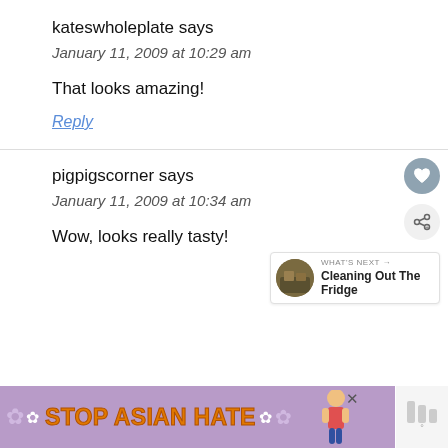kateswholeplate says
January 11, 2009 at 10:29 am
That looks amazing!
Reply
pigpigscorner says
January 11, 2009 at 10:34 am
Wow, looks really tasty!
[Figure (infographic): Stop Asian Hate advertisement banner with purple background, orange bold text, white flower decorations, and an illustrated figure on the right side]
[Figure (screenshot): Floating UI elements: heart button, share button, and What's Next widget showing Cleaning Out The Fridge]